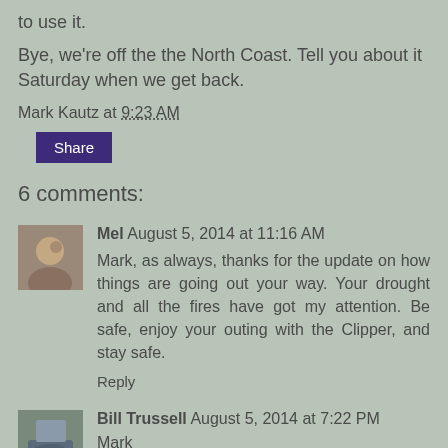to use it.
Bye, we're off the the North Coast. Tell you about it Saturday when we get back.
Mark Kautz at 9:23 AM
Share
6 comments:
Mel August 5, 2014 at 11:16 AM
Mark, as always, thanks for the update on how things are going out your way. Your drought and all the fires have got my attention. Be safe, enjoy your outing with the Clipper, and stay safe.
Reply
Bill Trussell August 5, 2014 at 7:22 PM
Mark